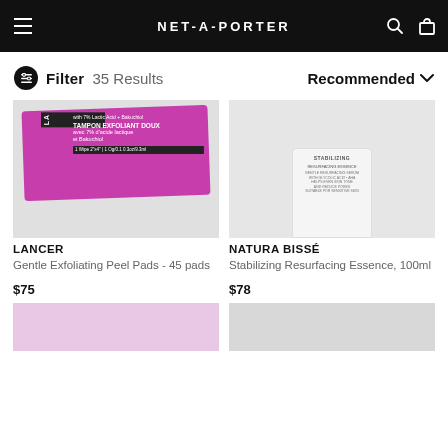NET-A-PORTER
Filter  35 Results  Recommended
[Figure (photo): Lancer Gentle Exfoliating Peel Pads product packaging, magenta/pink wipe packet with French text: TAMPON EXFOLIANT DOUX avec 7% d'acide lactique et Bakuchiol, with 7% Lactic Acid + Bakuchiol]
LANCER
Gentle Exfoliating Peel Pads - 45 pads
$75
[Figure (photo): Natura Bisse Stabilizing Resurfacing Essence 100ml white cylindrical jar/canister on light gray background]
NATURA BISSÉ
Stabilizing Resurfacing Essence, 100ml
$78
[Figure (photo): Bottom left product placeholder image, pink/magenta background]
[Figure (photo): Bottom right product placeholder image, light gray background]